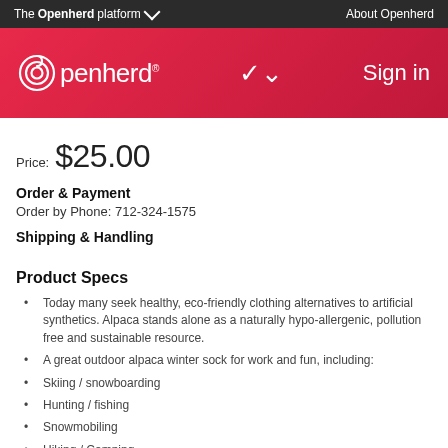The Openherd platform  About Openherd
[Figure (logo): Openherd logo with circular target icon and text 'openherd' on a red/pink gradient banner, with Sign in link]
Price:  $25.00
Order & Payment
Order by Phone: 712-324-1575
Shipping & Handling
Product Specs
Today many seek healthy, eco-friendly clothing alternatives to artificial synthetics. Alpaca stands alone as a naturally hypo-allergenic, pollution free and sustainable resource.
A great outdoor alpaca winter sock for work and fun, including:
Skiing / snowboarding
Hunting / fishing
Snowmobiling
Hiking / Camping